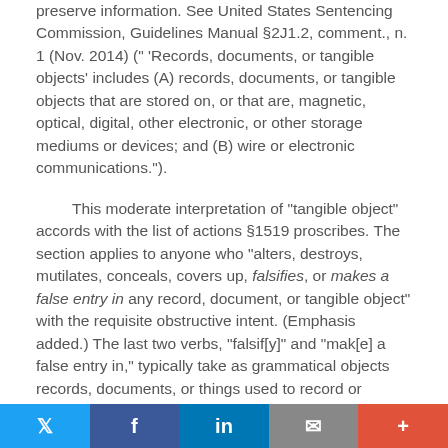preserve information. See United States Sentencing Commission, Guidelines Manual §2J1.2, comment., n. 1 (Nov. 2014) (" 'Records, documents, or tangible objects' includes (A) records, documents, or tangible objects that are stored on, or that are, magnetic, optical, digital, other electronic, or other storage mediums or devices; and (B) wire or electronic communications.").
This moderate interpretation of "tangible object" accords with the list of actions §1519 proscribes. The section applies to anyone who "alters, destroys, mutilates, conceals, covers up, falsifies, or makes a false entry in any record, document, or tangible object" with the requisite obstructive intent. (Emphasis added.) The last two verbs, "falsif[y]" and "mak[e] a false entry in," typically take as grammatical objects records, documents, or things used to record or preserve information, such as logbooks or hard drives. See, e.g.,
[Figure (infographic): Social sharing bar with Twitter, Facebook, LinkedIn, email, and more buttons]